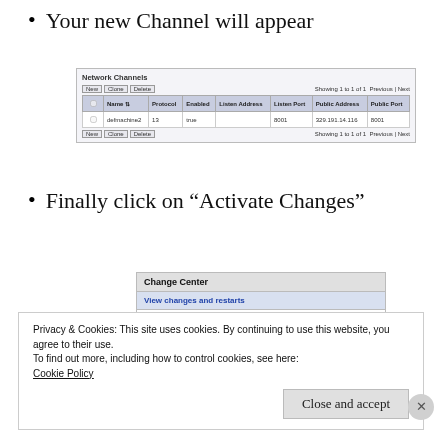Your new Channel will appear
[Figure (screenshot): Network Channels table showing one entry: name 'defmachine2', protocol '13', enabled 'true', listen port '8001', public address '329.191.14.116', public port '8001'. Toolbar with New, Clone, Delete buttons and Showing 1 to 1 of 1 Previous | Next.]
Finally click on "Activate Changes"
[Figure (screenshot): Change Center panel showing 'View changes and restarts' link in blue and text 'Pending changes exist. They must be activated to take effect.']
Privacy & Cookies: This site uses cookies. By continuing to use this website, you agree to their use.
To find out more, including how to control cookies, see here: Cookie Policy
Close and accept